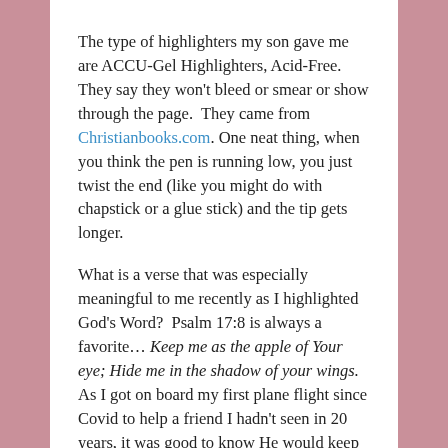The type of highlighters my son gave me are ACCU-Gel Highlighters, Acid-Free. They say they won't bleed or smear or show through the page.  They came from Christianbooks.com. One neat thing, when you think the pen is running low, you just twist the end (like you might do with chapstick or a glue stick) and the tip gets longer.
What is a verse that was especially meaningful to me recently as I highlighted God's Word?  Psalm 17:8 is always a favorite… Keep me as the apple of Your eye; Hide me in the shadow of your wings. As I got on board my first plane flight since Covid to help a friend I hadn't seen in 20 years, it was good to know He would keep me under His wings as the plane flew above the clouds. Thank you, dearest Jesus.
Today's TEA CUPP: Try reading and marking Psalm 18. Remember, you want to begin each day in God's Word, letting Him speak first.  Mark the words that touch your heart, then use these as conversation starters as you pour